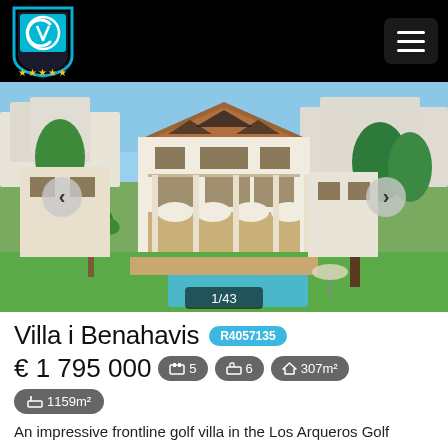[Figure (logo): MC real estate logo with shield shape, cyan/blue colors and gold stars, on black header]
[Figure (photo): Aerial photo of a large white Mediterranean-style villa with terracotta roof, multiple floors, pool in the garden, surrounded by trees and other white buildings on a hillside]
Villa i Benahavis R4057135
€ 1 795 000  🛏 5  🛁 6  🏠 307m²  📐 1159m²
An impressive frontline golf villa in the Los Arqueros Golf Resort. The villa sits on an elevated plot giving